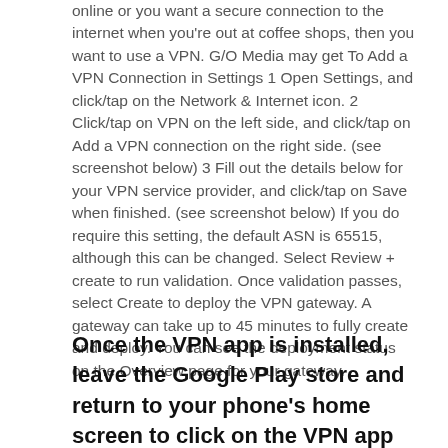online or you want a secure connection to the internet when you're out at coffee shops, then you want to use a VPN. G/O Media may get To Add a VPN Connection in Settings 1 Open Settings, and click/tap on the Network & Internet icon. 2 Click/tap on VPN on the left side, and click/tap on Add a VPN connection on the right side. (see screenshot below) 3 Fill out the details below for your VPN service provider, and click/tap on Save when finished. (see screenshot below) If you do require this setting, the default ASN is 65515, although this can be changed. Select Review + create to run validation. Once validation passes, select Create to deploy the VPN gateway. A gateway can take up to 45 minutes to fully create and deploy. You can see the deployment status on the Overview page for your gateway.
Once the VPN app is installed, leave the Google Play store and return to your phone's home screen to click on the VPN app and